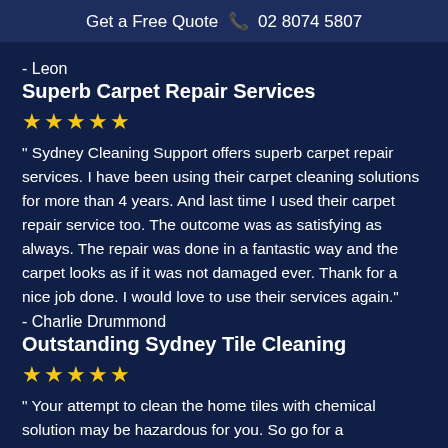Get a Free Quote ☎ 02 8074 5807
- Leon
Superb Carpet Repair Services
★★★★★
“ Sydney Cleaning Support offers superb carpet repair services. I have been using their carpet cleaning solutions for more than 4 years. And last time I used their carpet repair service too. The outcome was as satisfying as always. The repair was done in a fantastic way and the carpet looks as if it was not damaged ever. Thank for a nice job done. I would love to use their services again.”
- Charlie Drummond
Outstanding Sydney Tile Cleaning
★★★★★
“ Your attempt to clean the home tiles with chemical solution may be hazardous for you. So go for a